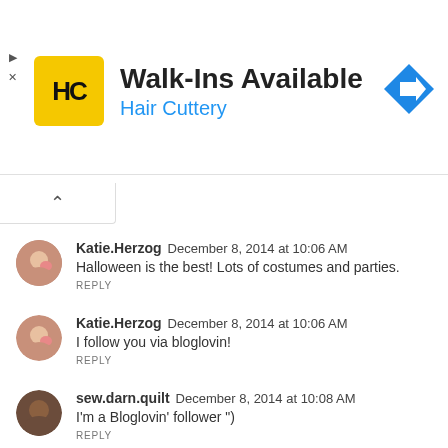[Figure (screenshot): Hair Cuttery advertisement banner with yellow logo, 'Walk-Ins Available' text, 'Hair Cuttery' subtitle in blue, and a blue diamond navigation arrow icon on the right]
Katie.Herzog  December 8, 2014 at 10:06 AM
Halloween is the best! Lots of costumes and parties.
REPLY
Katie.Herzog  December 8, 2014 at 10:06 AM
I follow you via bloglovin!
REPLY
sew.darn.quilt  December 8, 2014 at 10:08 AM
I'm a Bloglovin' follower ")
REPLY